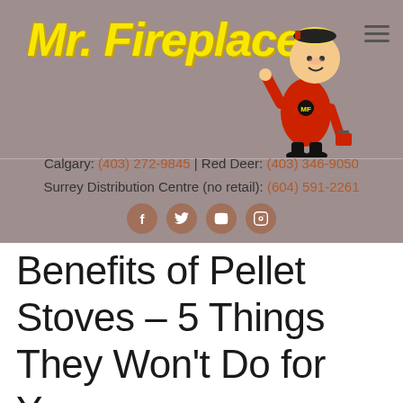[Figure (logo): Mr. Fireplace logo with yellow script text and cartoon mascot in red uniform]
Calgary: (403) 272-9845 | Red Deer: (403) 346-9050
Surrey Distribution Centre (no retail): (604) 591-2261
[Figure (illustration): Social media icons: Facebook, Twitter, YouTube, Instagram in brown circles]
Benefits of Pellet Stoves – 5 Things They Won't Do for You